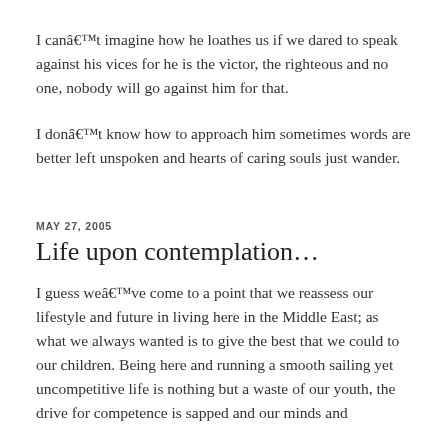I canât imagine how he loathes us if we dared to speak against his vices for he is the victor, the righteous and no one, nobody will go against him for that.
I donât know how to approach him sometimes words are better left unspoken and hearts of caring souls just wander.
MAY 27, 2005
Life upon contemplation…
I guess weâve come to a point that we reassess our lifestyle and future in living here in the Middle East; as what we always wanted is to give the best that we could to our children. Being here and running a smooth sailing yet uncompetitive life is nothing but a waste of our youth, the drive for competence is sapped and our minds and